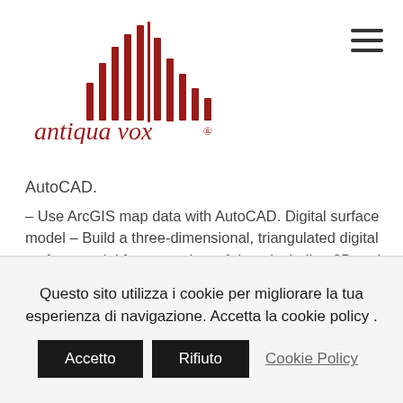[Figure (logo): Antiqua Vox logo with red vertical bars waveform graphic and italic red serif text 'antiqua vox ®']
AutoCAD.
– Use ArcGIS map data with AutoCAD. Digital surface model – Build a three-dimensional, triangulated digital surface model from a variety of data, including 2D and 3D layers, measurements, and shapes.
– Build a three-dimensional, triangulated digital surface model from a variety of data, including 2D and 3D layers, measurements, and shapes. 3D
Questo sito utilizza i cookie per migliorare la tua esperienza di navigazione. Accetta la cookie policy .
Accetto   Rifiuto   Cookie Policy